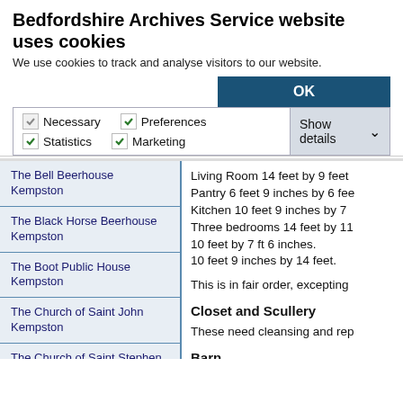Bedfordshire Archives Service website uses cookies
We use cookies to track and analyse visitors to our website.
OK
Necessary  Preferences  Statistics  Marketing  Show details
The Bell Beerhouse Kempston
The Black Horse Beerhouse Kempston
The Boot Public House Kempston
The Church of Saint John Kempston
The Church of Saint Stephen Kempston
The Constitutional Club Kempston
The Creation of The Church of The Transfiguration Kempston
Living Room 14 feet by 9 feet Pantry 6 feet 9 inches by 6 fee Kitchen 10 feet 9 inches by 7 Three bedrooms 14 feet by 11 10 feet by 7 ft 6 inches. 10 feet 9 inches by 14 feet.
This is in fair order, excepting
Closet and Scullery
These need cleansing and rep
Barn
This is common to school and
Ashpit